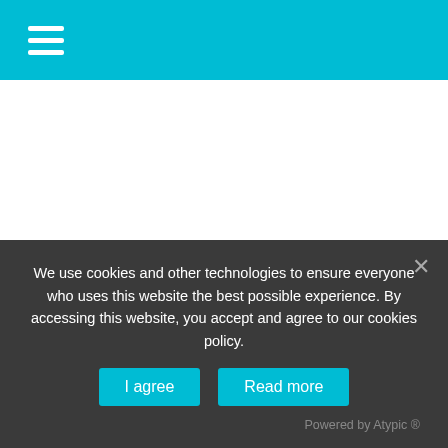☰ (hamburger menu icon)
May. 3, 2017
RubberCon2017
Event date : May. 23, 2017 → May. 25, 2017
We use cookies and other technologies to ensure everyone who uses this website the best possible experience. By accessing this website, you accept and agree to our cookies policy.
I agree
Read more
Powered by Atypic ®